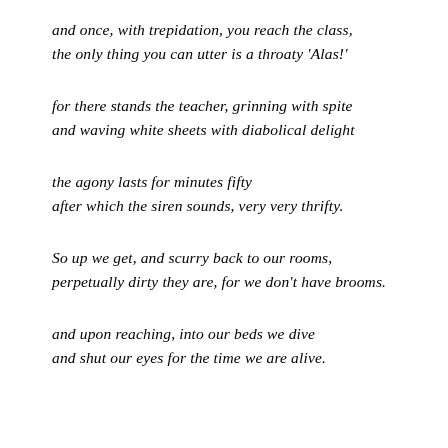and once, with trepidation, you reach the class,
the only thing you can utter is a throaty 'Alas!'
for there stands the teacher, grinning with spite
and waving white sheets with diabolical delight
the agony lasts for minutes fifty
after which the siren sounds, very very thrifty.
So up we get, and scurry back to our rooms,
perpetually dirty they are, for we don't have brooms.
and upon reaching, into our beds we dive
and shut our eyes for the time we are alive.